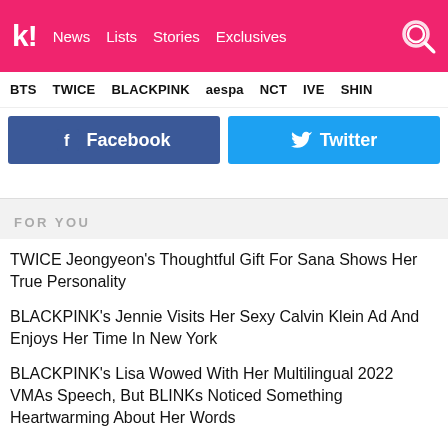k! News Lists Stories Exclusives
BTS TWICE BLACKPINK aespa NCT IVE SHIN...
[Figure (other): Facebook share button (blue, with Facebook logo icon)]
[Figure (other): Twitter share button (blue, with Twitter bird icon)]
FOR YOU
TWICE Jeongyeon's Thoughtful Gift For Sana Shows Her True Personality
BLACKPINK's Jennie Visits Her Sexy Calvin Klein Ad And Enjoys Her Time In New York
BLACKPINK's Lisa Wowed With Her Multilingual 2022 VMAs Speech, But BLINKs Noticed Something Heartwarming About Her Words